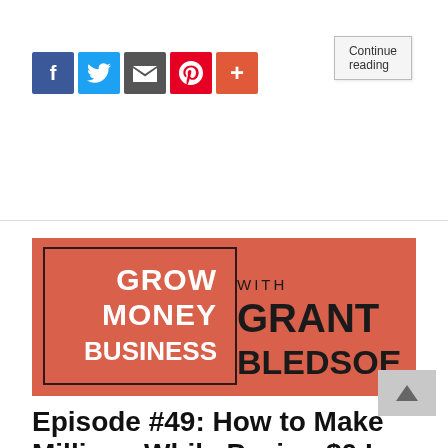Continue reading
[Figure (screenshot): Social media sharing icons: Facebook (blue), Twitter (light blue), Email (dark grey), Pinterest (red), Plus/More (orange-red)]
[Figure (logo): Grow Money Business with Grant Bledsoe podcast logo on coral/salmon background. Left box contains 'GROW MONEY BUSINESS' in white bold text, right side has 'WITH' in small text and 'GRANT BLEDSOE' in large black bold text.]
Episode #49: How to Make Millions While Paying $0 In